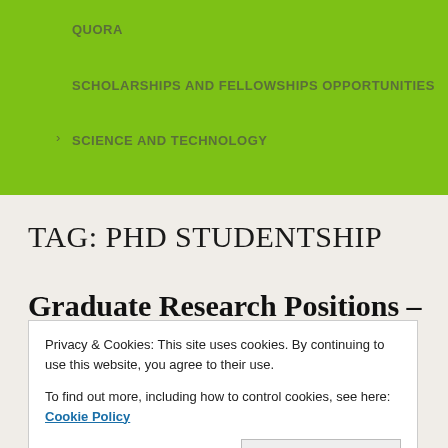QUORA
SCHOLARSHIPS AND FELLOWSHIPS OPPORTUNITIES
SCIENCE AND TECHNOLOGY
TAG: PHD STUDENTSHIP
Graduate Research Positions –
Privacy & Cookies: This site uses cookies. By continuing to use this website, you agree to their use.
To find out more, including how to control cookies, see here: Cookie Policy
Close and accept
Happy New Year to you in 2021. I will consistently